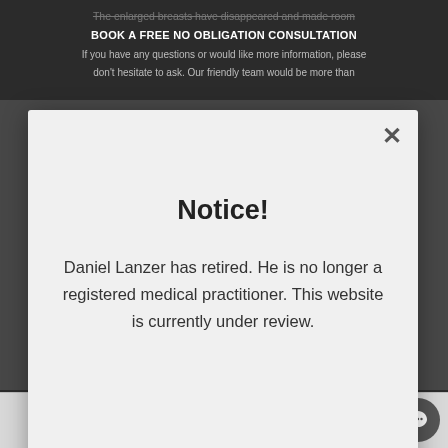The enlarged breasts have disappeared and made room
BOOK A FREE NO OBLIGATION CONSULTATION
If you have any questions or would like more information, please don't hesitate to ask. Our friendly team would be more than
Notice!
Daniel Lanzer has retired. He is no longer a registered medical practitioner. This website is currently under review.